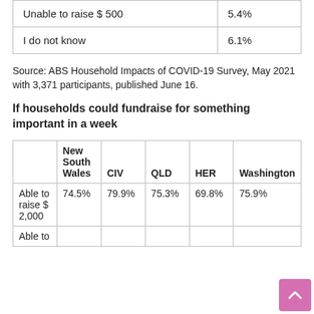|  |  |
| --- | --- |
| Unable to raise $ 500 | 5.4% |
| I do not know | 6.1% |
Source: ABS Household Impacts of COVID-19 Survey, May 2021 with 3,371 participants, published June 16.
If households could fundraise for something important in a week
|  | New South Wales | CIV | QLD | HER | Washington |
| --- | --- | --- | --- | --- | --- |
| Able to raise $ 2,000 | 74.5% | 79.9% | 75.3% | 69.8% | 75.9% |
| Able to |  |  |  |  |  |